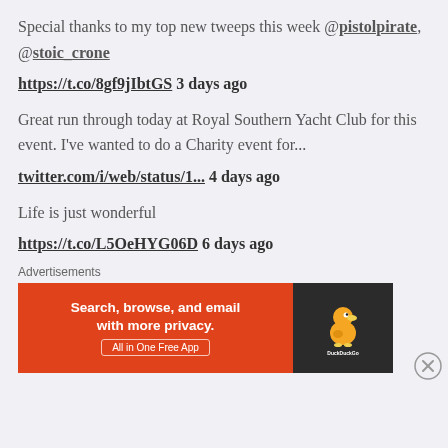Special thanks to my top new tweeps this week @pistolpirate, @stoic_crone
https://t.co/8gf9jIbtGS 3 days ago
Great run through today at Royal Southern Yacht Club for this event. I've wanted to do a Charity event for...
twitter.com/i/web/status/1... 4 days ago
Life is just wonderful
https://t.co/L5OeHYG06D 6 days ago
Advertisements
[Figure (infographic): DuckDuckGo advertisement banner: orange left panel with text 'Search, browse, and email with more privacy. All in One Free App', dark right panel with DuckDuckGo logo duck icon and DuckDuckGo text]